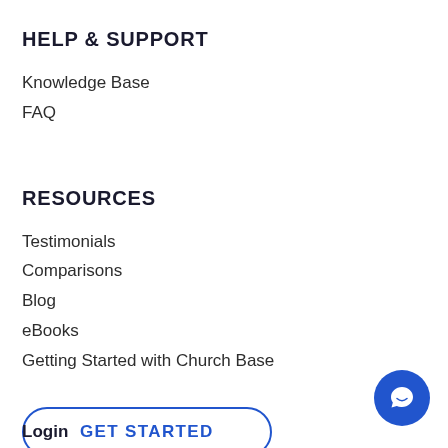HELP & SUPPORT
Knowledge Base
FAQ
RESOURCES
Testimonials
Comparisons
Blog
eBooks
Getting Started with Church Base
GET STARTED
Login